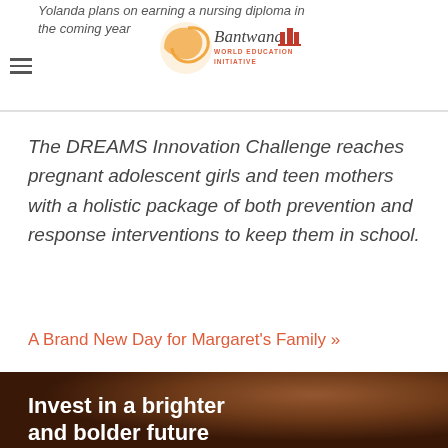Yolanda plans on earning a nursing diploma in the coming year
[Figure (logo): Bantwana World Education Initiative logo with orange circular icon and red building icon]
The DREAMS Innovation Challenge reaches pregnant adolescent girls and teen mothers with a holistic package of both prevention and response interventions to keep them in school.
A Brand New Day for Margaret's Family »
[Figure (photo): Close-up photo of a young person's face, warm brown tones]
Invest in a brighter and bolder future